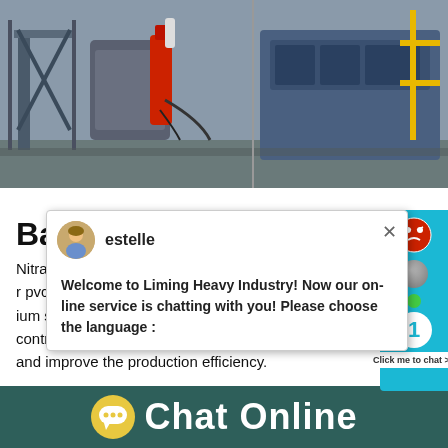[Figure (photo): Industrial machinery in a factory setting - ball mills and heavy industrial equipment, grey and blue colored machines with a red component visible]
Ball Mill For Lead Oxide Formu...
Nitrate Testing. Calcium stearate is used as n... r pvcwaterproof materialpaintlubricant penci... ium stearate plant is specially designed for ca... controlled by plc cabinet automatic system ca... and improve the production efficiency.
[Figure (screenshot): Chat popup from estelle agent: Welcome to Liming Heavy Industry! Now our on-line service is chatting with you! Please choose the language:]
Chat Online